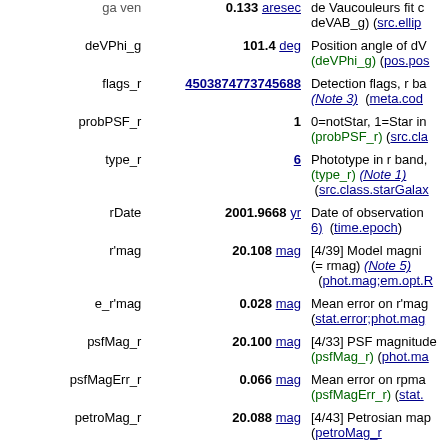| Name | Value | Description |
| --- | --- | --- |
| deVPhi_g | 101.4 deg | Position angle of dV... (deVPhi_g) (pos.pos... |
| flags_r | 4503874773745688 | Detection flags, r ba... (Note 3) (meta.cod... |
| probPSF_r | 1 | 0=notStar, 1=Star in... (probPSF_r) (src.cla... |
| type_r | 6 | Phototype in r band,... (type_r) (Note 1) (src.class.starGalax... |
| rDate | 2001.9668 yr | Date of observation... 6) (time.epoch) |
| r'mag | 20.108 mag | [4/39] Model magni... (= rmag) (Note 5) (phot.mag;em.opt.R... |
| e_r'mag | 0.028 mag | Mean error on r'mag... (stat.error;phot.mag... |
| psfMag_r | 20.100 mag | [4/33] PSF magnitude... (psfMag_r) (phot.ma... |
| psfMagErr_r | 0.066 mag | Mean error on rpma... (psfMagErr_r) (stat.... |
| petroMag_r | 20.088 mag | [4/43] Petrosian map... |